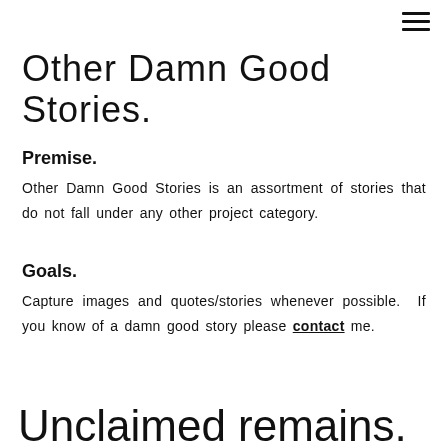[Figure (other): Hamburger menu icon (three horizontal lines) in the top right corner]
Other Damn Good Stories.
Premise.
Other Damn Good Stories is an assortment of stories that do not fall under any other project category.
Goals.
Capture images and quotes/stories whenever possible.  If you know of a damn good story please contact me.
Unclaimed remains.